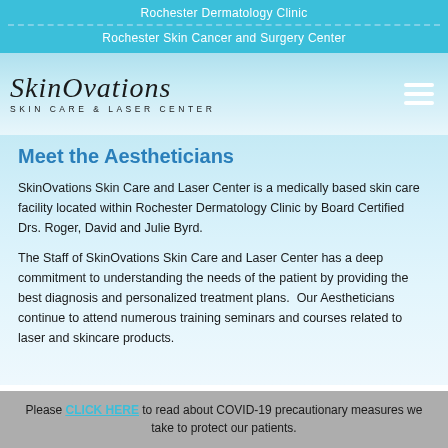Rochester Dermatology Clinic
Rochester Skin Cancer and Surgery Center
[Figure (logo): SkinOvations Skin Care & Laser Center logo with cursive script and hamburger menu icon]
Meet the Aestheticians
SkinOvations Skin Care and Laser Center is a medically based skin care facility located within Rochester Dermatology Clinic by Board Certified Drs. Roger, David and Julie Byrd.
The Staff of SkinOvations Skin Care and Laser Center has a deep commitment to understanding the needs of the patient by providing the best diagnosis and personalized treatment plans.  Our Aestheticians continue to attend numerous training seminars and courses related to laser and skincare products.
Please CLICK HERE to read about COVID-19 precautionary measures we take to protect our patients.